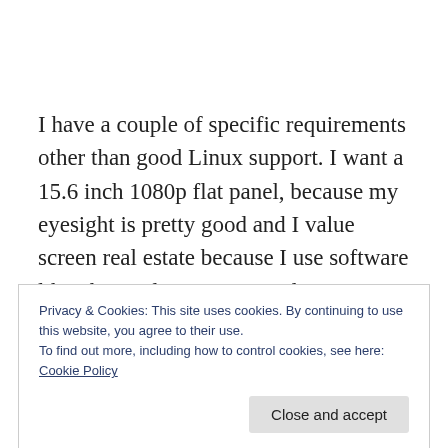I have a couple of specific requirements other than good Linux support. I want a 15.6 inch 1080p flat panel, because my eyesight is pretty good and I value screen real estate because I use software like photo editing suites and development environments that have big
Privacy & Cookies: This site uses cookies. By continuing to use this website, you agree to their use.
To find out more, including how to control cookies, see here: Cookie Policy

Close and accept
graphics hardware and stick with Intel